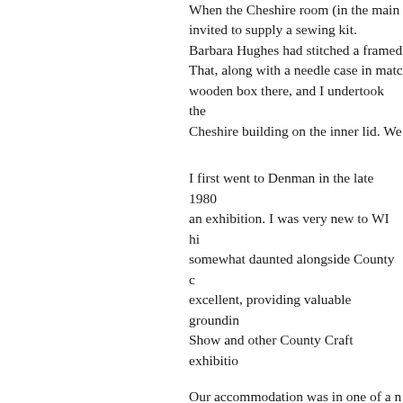When the Cheshire room (in the main invited to supply a sewing kit. Barbara Hughes had stitched a framed That, along with a needle case in matc wooden box there, and I undertook the Cheshire building on the inner lid. We
I first went to Denman in the late 1980 an exhibition. I was very new to WI hi somewhat daunted alongside County c excellent, providing valuable groundin Show and other County Craft exhibitio
Our accommodation was in one of a n bathrooms and loos at the end of the c
More recently I visited with Weaver W hall, and accommodated in one of the
1 Marjorie with her first and last craft Platter (basket work) and bead neckla Courses were always' full on' but the